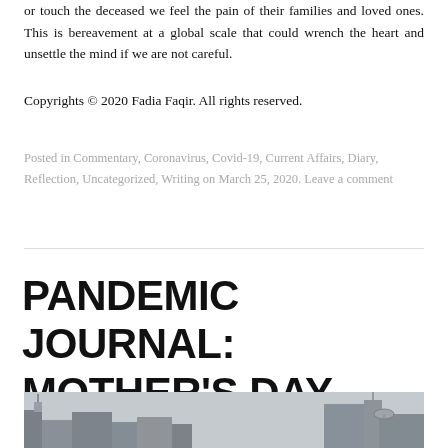or touch the deceased we feel the pain of their families and loved ones. This is bereavement at a global scale that could wrench the heart and unsettle the mind if we are not careful.
Copyrights © 2020 Fadia Faqir. All rights reserved.
Posted in Commentary, Coronavirus, Covid-19, Current Affairs, Diary, Reflection, Uncategorized, Writing on March 25, 2020. Leave a comment
PANDEMIC JOURNAL: MOTHER'S DAY
[Figure (photo): Black and white photo of urban buildings against a pale sky]